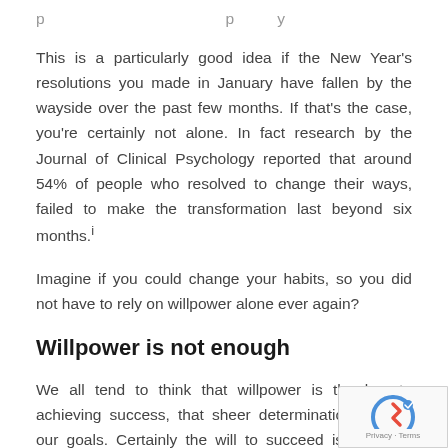This is a particularly good idea if the New Year's resolutions you made in January have fallen by the wayside over the past few months. If that's the case, you're certainly not alone. In fact research by the Journal of Clinical Psychology reported that around 54% of people who resolved to change their ways, failed to make the transformation last beyond six months.i
Imagine if you could change your habits, so you did not have to rely on willpower alone ever again?
Willpower is not enough
We all tend to think that willpower is the key to achieving success, that sheer determination will get our goals. Certainly the will to succeed is a critical component, but research has shown us that people who